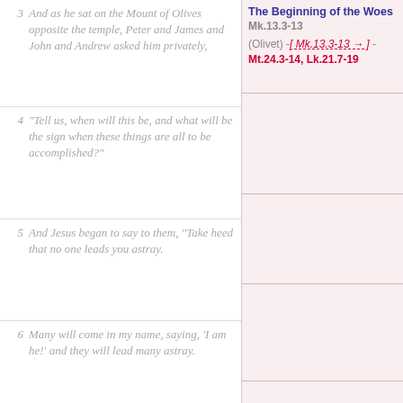3 And as he sat on the Mount of Olives opposite the temple, Peter and James and John and Andrew asked him privately,
The Beginning of the Woes Mk.13.3-13 (Olivet) -[ Mk.13.3-13 → ] - Mt.24.3-14, Lk.21.7-19
4 "Tell us, when will this be, and what will be the sign when these things are all to be accomplished?"
5 And Jesus began to say to them, "Take heed that no one leads you astray.
6 Many will come in my name, saying, 'I am he!' and they will lead many astray.
7 And when you hear of wars and rumors of wars, do not be alarmed; this must take place, but the end is not yet.